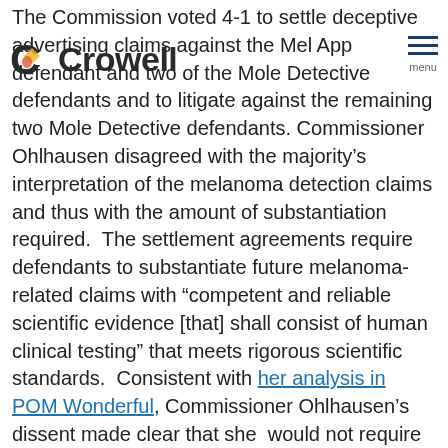C Crowell [logo with hamburger menu]
The Commission voted 4-1 to settle deceptive advertising claims against the Mel App defendant and two of the Mole Detective defendants and to litigate against the remaining two Mole Detective defendants. Commissioner Ohlhausen disagreed with the majority's interpretation of the melanoma detection claims and thus with the amount of substantiation required.  The settlement agreements require defendants to substantiate future melanoma-related claims with “competent and reliable scientific evidence [that] shall consist of human clinical testing” that meets rigorous scientific standards.  Consistent with her analysis in POM Wonderful, Commissioner Ohlhausen’s dissent made clear that she  would not require such “onerous” substantiation because “substantiation requirements must flow from the claims made by the advertiser” and “[w]ithout extrinsic evidence, I do not have reason to